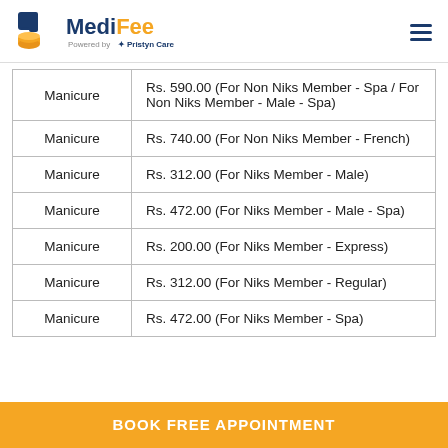MediFee - Powered by Pristyn Care
| Service | Price |
| --- | --- |
| Manicure | Rs. 590.00 (For Non Niks Member - Spa / For Non Niks Member - Male - Spa) |
| Manicure | Rs. 740.00 (For Non Niks Member - French) |
| Manicure | Rs. 312.00 (For Niks Member - Male) |
| Manicure | Rs. 472.00 (For Niks Member - Male - Spa) |
| Manicure | Rs. 200.00 (For Niks Member - Express) |
| Manicure | Rs. 312.00 (For Niks Member - Regular) |
| Manicure | Rs. 472.00 (For Niks Member - Spa) |
BOOK FREE APPOINTMENT